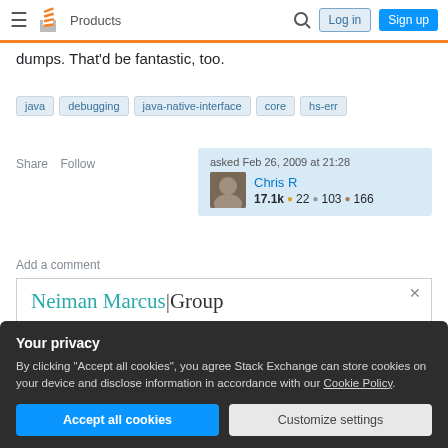Stack Overflow navigation: hamburger menu, logo, Products, search, Log in, Sign up
dumps. That'd be fantastic, too.
java
debugging
java-native-interface
core
hs-err
Share  Follow
asked Feb 26, 2009 at 21:28
Chris R
17.1k ● 22 ● 103 ● 166
Add a comment
[Figure (other): Neiman Marcus Group advertisement banner with close button]
Your privacy
By clicking "Accept all cookies", you agree Stack Exchange can store cookies on your device and disclose information in accordance with our Cookie Policy.
Accept all cookies   Customize settings